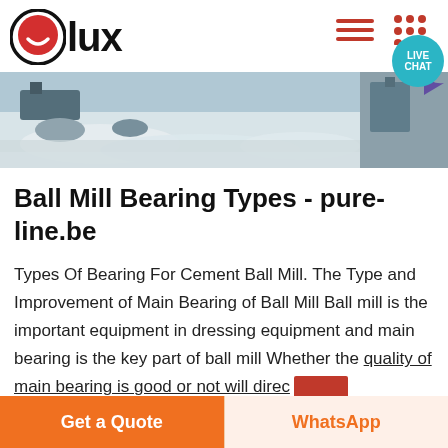lux (logo header with navigation icons and live chat button)
[Figure (photo): Aerial or ground-level view of a quarry/industrial site with white/grey ground material, machinery in background]
Ball Mill Bearing Types - pure-line.be
Types Of Bearing For Cement Ball Mill. The Type and Improvement of Main Bearing of Ball Mill Ball mill is the important equipment in dressing equipment and main bearing is the key part of ball mill Whether the quality of main bearing is good or not will direc
Get a Quote   WhatsApp